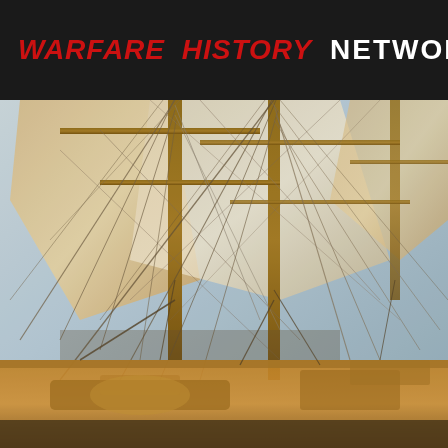WARFARE HISTORY NETWORK
[Figure (photo): Close-up painting or illustration of a tall sailing ship's rigging, masts, sails, and ropes against a blue-grey sky. The image shows detailed wooden masts, furled sails in tan/ochre tones, and an intricate network of ropes and lines (standing and running rigging). The lower portion shows the ship's hull deck structure in warm golden-brown wood tones.]